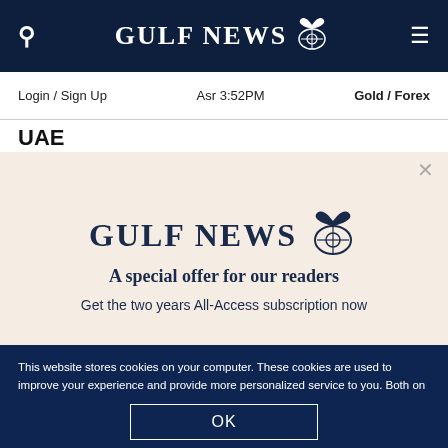GULF NEWS
Login / Sign Up    Asr 3:52PM    Gold / Forex
UAE
[Figure (screenshot): Gulf News subscription modal with logo, tagline 'A special offer for our readers', and text 'Get the two years All-Access subscription now']
This website stores cookies on your computer. These cookies are used to improve your experience and provide more personalized service to you. Both on your website and other media. To find out more about the cookies and data we use, please check out our Privacy Policy.
OK